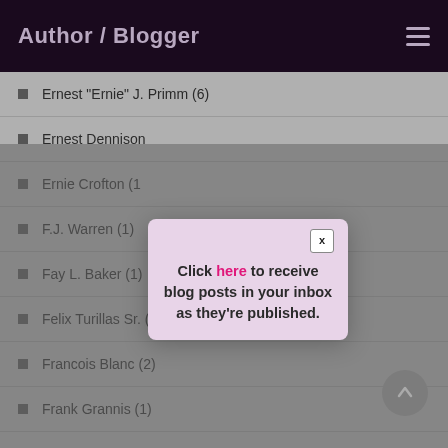Author / Blogger
Ernest "Ernie" J. Primm (6)
Ernest Dennison
Ernie Crofton (1
F.J. Warren (1)
Fay L. Baker (1)
Felix Turillas Sr. (1)
Francois Blanc (2)
Frank Grannis (1)
[Figure (screenshot): Modal popup with close button (x), text: Click here to receive blog posts in your inbox as they're published. 'here' is highlighted in pink/magenta.]